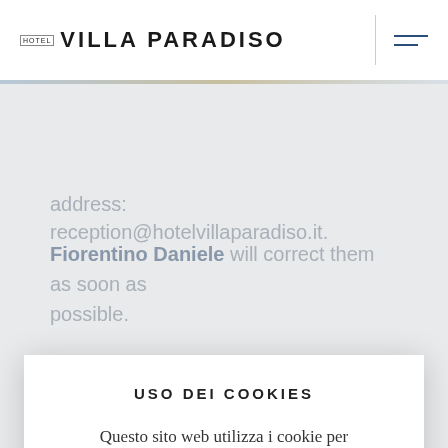HOTEL VILLA PARADISO
address: reception@hotelvillaparadiso.it.
Fiorentino Daniele will correct them as soon as possible.
USO DEI COOKIES
Questo sito web utilizza i cookie per assicurarti la migliore esperienza sul sito. More
ACCETTA
RIFIUTA
The completeness and accuracy of the